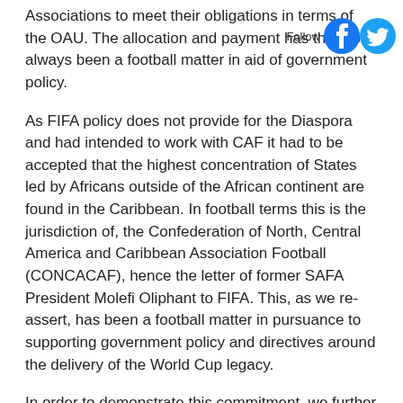Associations to meet their obligations in terms of the OAU. The allocation and payment has therefore always been a football matter in aid of government policy.
As FIFA policy does not provide for the Diaspora and had intended to work with CAF it had to be accepted that the highest concentration of States led by Africans outside of the African continent are found in the Caribbean. In football terms this is the jurisdiction of, the Confederation of North, Central America and Caribbean Association Football (CONCACAF), hence the letter of former SAFA President Molefi Oliphant to FIFA. This, as we re-assert, has been a football matter in pursuance to supporting government policy and directives around the delivery of the World Cup legacy.
In order to demonstrate this commitment, we further wish to highlight other forms of support that South Africa has lent to the continent and in the diaspora in sport. We had earlier supported the government of Mali to deliver the African Cup of Nations with technical support and an amount of R29 million. We had supported the government of Burundi with provision of sport